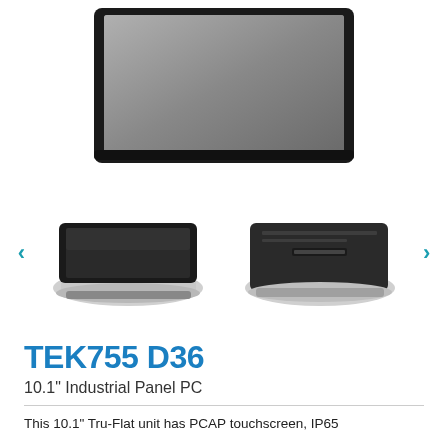[Figure (photo): Top portion of a thin black-bezel industrial panel PC with gray screen, shown from front-top angle, cropped at bottom]
[Figure (photo): Two views of the TEK755 D36 industrial panel PC shown side by side: left shows front-angled view with black touchscreen on silver/white base; right shows rear/back angled view showing the dark enclosure with mounting points]
TEK755 D36
10.1" Industrial Panel PC
This 10.1" Tru-Flat unit has PCAP touchscreen, IP65